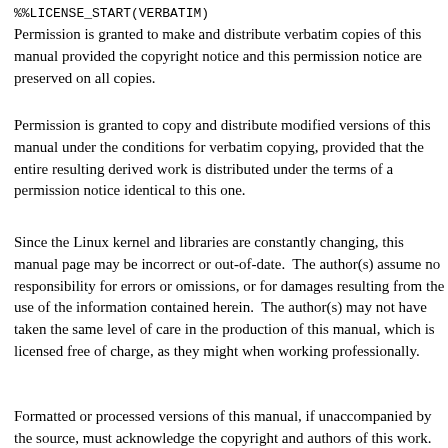%%LICENSE_START(VERBATIM)
Permission is granted to make and distribute verbatim copies of this manual provided the copyright notice and this permission notice are preserved on all copies.
Permission is granted to copy and distribute modified versions of this manual under the conditions for verbatim copying, provided that the entire resulting derived work is distributed under the terms of a permission notice identical to this one.
Since the Linux kernel and libraries are constantly changing, this manual page may be incorrect or out-of-date.  The author(s) assume no responsibility for errors or omissions, or for damages resulting from the use of the information contained herein.  The author(s) may not have taken the same level of care in the production of this manual, which is licensed free of charge, as they might when working professionally.
Formatted or processed versions of this manual, if unaccompanied by the source, must acknowledge the copyright and authors of this work. %%LICENSE_END